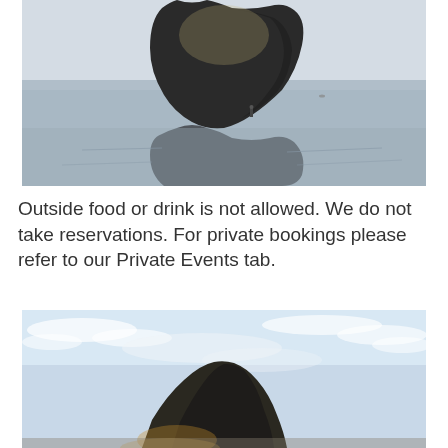[Figure (photo): A large dark sea stack rock formation with its reflection on a flat wet beach. A tiny human figure stands near the base. Overcast sky. Muted blue-gray tones.]
Outside food or drink is not allowed. We do not take reservations. For private bookings please refer to our Private Events tab.
[Figure (photo): A partial view of a rocky coastal sea stack or headland seen from below, with blue sky and wispy clouds above. Warm golden light at the base.]